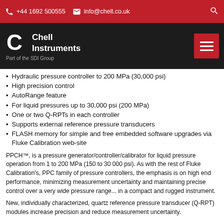+44 1692 500555  info@chell.co.uk
[Figure (logo): Chell Instruments logo — white 'C' icon and text 'Chell Instruments', 'Part of the SDI Group' on dark background, with red hamburger menu button]
Hydraulic pressure controller to 200 MPa (30,000 psi)
High precision control
AutoRange feature
For liquid pressures up to 30,000 psi (200 MPa)
One or two Q-RPTs in each controller
Supports external reference pressure transducers
FLASH memory for simple and free embedded software upgrades via Fluke Calibration web-site
PPCH™, is a pressure generator/controller/calibrator for liquid pressure operation from 1 to 200 MPa (150 to 30 000 psi). As with the rest of Fluke Calibration's, PPC family of pressure controllers, the emphasis is on high end performance, minimizing measurement uncertainty and maintaining precise control over a very wide pressure range... in a compact and rugged instrument.
New, individually characterized, quartz reference pressure transducer (Q-RPT) modules increase precision and reduce measurement uncertainty.